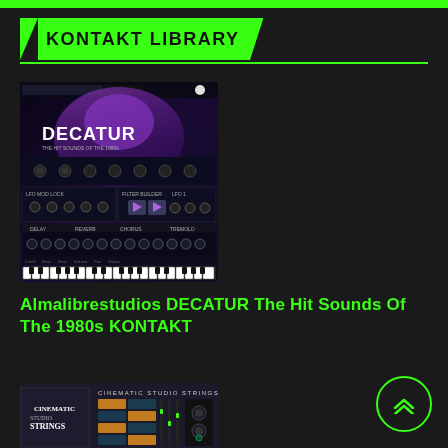KONTAKT LIBRARY
[Figure (screenshot): DECATUR synthesizer plugin interface screenshot showing dark UI with purple accents, knobs, keyboard, and DECATUR branding]
Almalibrestudios DECATUR The Hit Sounds Of The 1980s KONTAKT
[Figure (screenshot): Cinematic Studio Strings plugin interface and box art showing dark UI with orange/amber buttons]